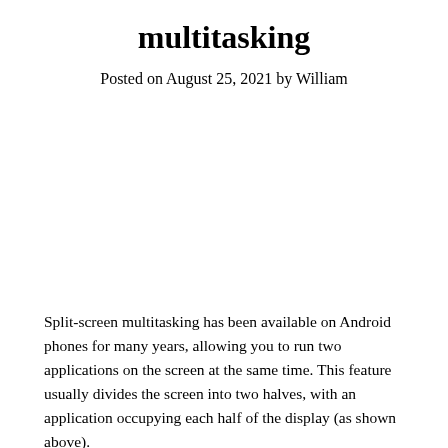multitasking
Posted on August 25, 2021 by William
Split-screen multitasking has been available on Android phones for many years, allowing you to run two applications on the screen at the same time. This feature usually divides the screen into two halves, with an application occupying each half of the display (as shown above).
However, we want to know how often people actually use this